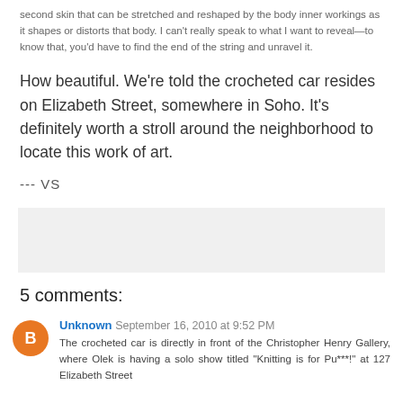second skin that can be stretched and reshaped by the body inner workings as it shapes or distorts that body. I can't really speak to what I want to reveal—to know that, you'd have to find the end of the string and unravel it.
How beautiful. We're told the crocheted car resides on Elizabeth Street, somewhere in Soho. It's definitely worth a stroll around the neighborhood to locate this work of art.
--- VS
[Figure (other): Gray placeholder box]
5 comments:
Unknown September 16, 2010 at 9:52 PM
The crocheted car is directly in front of the Christopher Henry Gallery, where Olek is having a solo show titled "Knitting is for Pu***!" at 127 Elizabeth Street